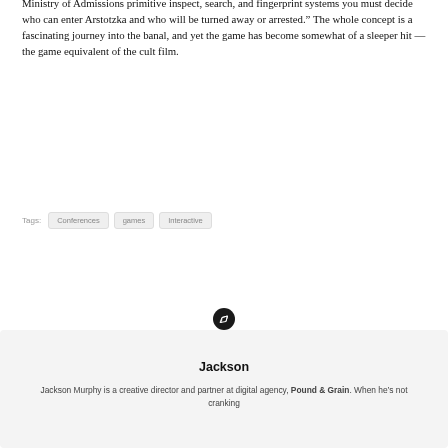Ministry of Admissions primitive inspect, search, and fingerprint systems you must decide who can enter Arstotzka and who will be turned away or arrested.” The whole concept is a fascinating journey into the banal, and yet the game has become somewhat of a sleeper hit —the game equivalent of the cult film.
Tags: Conferences  games  Interactive
Jackson
Jackson Murphy is a creative director and partner at digital agency, Pound & Grain. When he’s not cranking